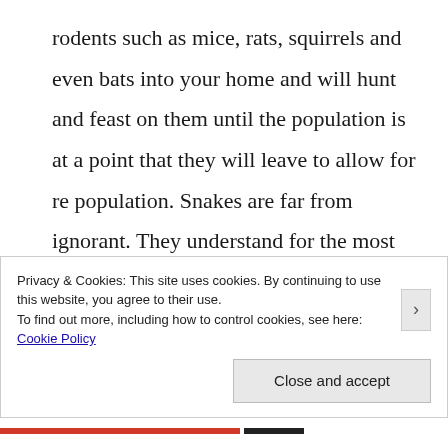rodents such as mice, rats, squirrels and even bats into your home and will hunt and feast on them until the population is at a point that they will leave to allow for re population. Snakes are far from ignorant. They understand for the most part of how to allow a food stock for future use.
Privacy & Cookies: This site uses cookies. By continuing to use this website, you agree to their use.
To find out more, including how to control cookies, see here: Cookie Policy
Close and accept